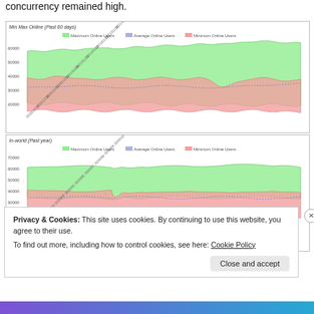concurrency remained high.
[Figure (area-chart): Area chart showing Maximum Online Users (green), Average Online Users (blue), and Minimum Online Users (pink/red) over the past 60 days. Y-axis values range from ~20000 to ~60000. X-axis shows dates.]
[Figure (area-chart): Area chart showing Maximum Online Users (green), Average Online Users (blue), and Minimum Online Users (pink/red) over the past year. Y-axis values range from ~10000 to ~70000. X-axis shows dates.]
Privacy & Cookies: This site uses cookies. By continuing to use this website, you agree to their use.
To find out more, including how to control cookies, see here: Cookie Policy
Close and accept